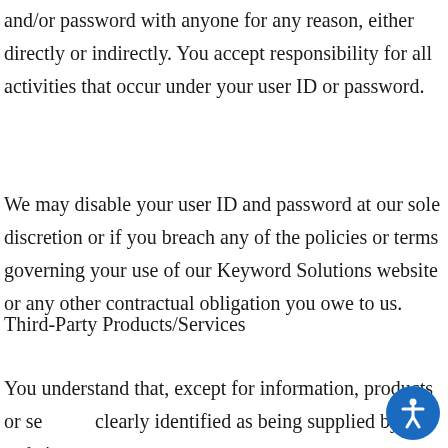and/or password with anyone for any reason, either directly or indirectly. You accept responsibility for all activities that occur under your user ID or password.
We may disable your user ID and password at our sole discretion or if you breach any of the policies or terms governing your use of our Keyword Solutions website or any other contractual obligation you owe to us.
Third-Party Products/Services
You understand that, except for information, products or services clearly identified as being supplied by our website, our we...